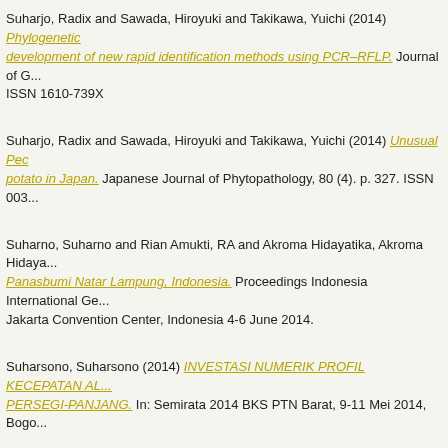Suharjo, Radix and Sawada, Hiroyuki and Takikawa, Yuichi (2014) Phylogenetic... development of new rapid identification methods using PCR–RFLP. Journal of G... ISSN 1610-739X
Suharjo, Radix and Sawada, Hiroyuki and Takikawa, Yuichi (2014) Unusual Pec... potato in Japan. Japanese Journal of Phytopathology, 80 (4). p. 327. ISSN 003...
Suharno, Suharno and Rian Amukti, RA and Akroma Hidayatika, Akroma Hidaya... Panasbumi Natar Lampung, Indonesia. Proceedings Indonesia International Ge... Jakarta Convention Center, Indonesia 4-6 June 2014.
Suharsono, Suharsono (2014) INVESTASI NUMERIK PROFIL KECEPATAN AL... PERSEGI-PANJANG. In: Semirata 2014 BKS PTN Barat, 9-11 Mei 2014, Bogo...
Sujadmiko, Bayu (2014) Penyadapan Lintas Negara/Kedaulatan Ditinjau dari H... Internasional. PKKPUU dan Bagia Hukum Internasional Fakultas Hukum Unive... 978-602-1245-17-0